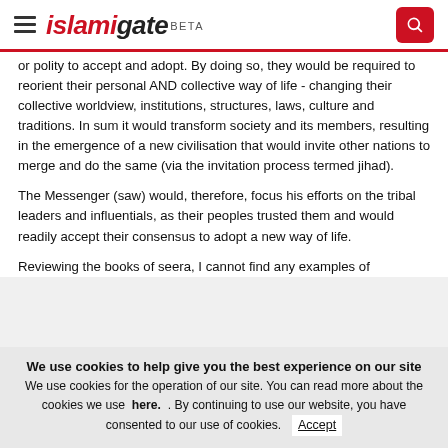islamigate BETA
or polity to accept and adopt. By doing so, they would be required to reorient their personal AND collective way of life - changing their collective worldview, institutions, structures, laws, culture and traditions. In sum it would transform society and its members, resulting in the emergence of a new civilisation that would invite other nations to merge and do the same (via the invitation process termed jihad).
The Messenger (saw) would, therefore, focus his efforts on the tribal leaders and influentials, as their peoples trusted them and would readily accept their consensus to adopt a new way of life.
Reviewing the books of seera, I cannot find any examples of
We use cookies to help give you the best experience on our site
We use cookies for the operation of our site. You can read more about the cookies we use  here.  . By continuing to use our website, you have consented to our use of cookies.  Accept